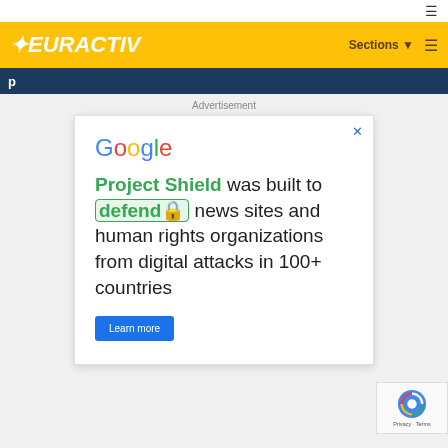EURACTIV — Sections
Advertisement
[Figure (screenshot): Google Project Shield advertisement: 'Project Shield was built to defend news sites and human rights organizations from digital attacks in 100+ countries' with a Learn more button]
[Figure (logo): Google reCAPTCHA badge with Privacy and Terms links]